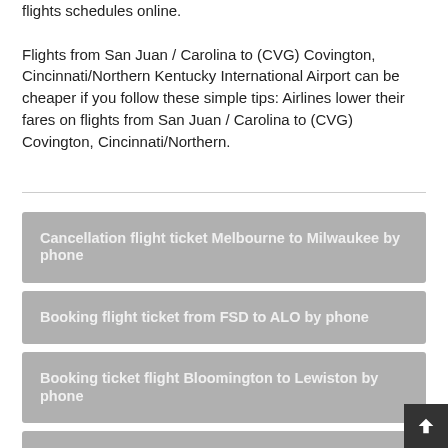flights schedules online.

Flights from San Juan / Carolina to (CVG) Covington, Cincinnati/Northern Kentucky International Airport can be cheaper if you follow these simple tips: Airlines lower their fares on flights from San Juan / Carolina to (CVG) Covington, Cincinnati/Northern.
Cancellation flight ticket Melbourne to Milwaukee by phone
Booking flight ticket from FSD to ALO by phone
Booking ticket flight Bloomington to Lewiston by phone
Booking flight Panama City Beach to Huntington by call